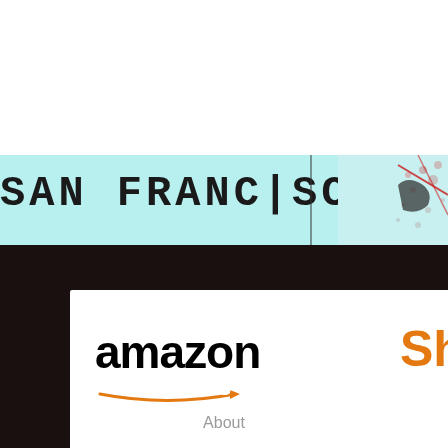[Figure (map): Vintage map banner showing 'SAN FRANCISCO BAY' text in bold uppercase letters on a light teal/cyan map background with decorative map elements on the right side.]
[Figure (screenshot): Amazon advertisement banner showing the Amazon logo with orange arrow, orange text reading 'Shop. Conn' (partially cut off), subtext 'Shop n' (partially cut off), and 'Privacy' link at bottom left. White background.]
Pages
About
Products